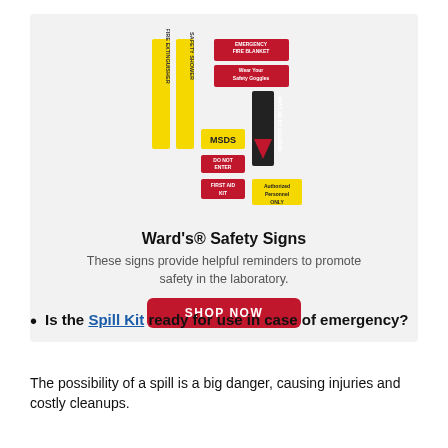[Figure (photo): Ward's Safety Signs product image showing various safety signs including MSDS, Do Not Enter, First Aid Kit, Emergency Fire Blanket, Wear Your Safety Goggles, and Authorized Personnel Only signs]
Ward's® Safety Signs
These signs provide helpful reminders to promote safety in the laboratory.
Is the Spill Kit ready for use in case of emergency?
The possibility of a spill is a big danger, causing injuries and costly cleanups.